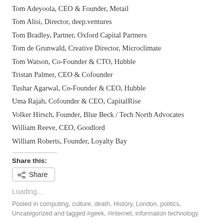Tom Adeyoola, CEO & Founder, Metail
Tom Alisi, Director, deep.ventures
Tom Bradley, Partner, Oxford Capital Partners
Tom de Grunwald, Creative Director, Microclimate
Tom Watson, Co-Founder & CTO, Hubble
Tristan Palmer, CEO & Cofounder
Tushar Agarwal, Co-Founder & CEO, Hubble
Uma Rajah, Cofounder & CEO, CapitalRise
Volker Hirsch, Founder, Blue Beck / Tech North Advocates
William Reeve, CEO, Goodlord
William Roberts, Founder, Loyalty Bay
Share this:
Loading...
Posted in computing, culture, death, History, London, politics, Uncategorized and tagged #geek, #internet, information technology